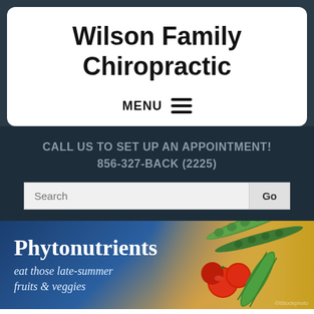Wilson Family Chiropractic
MENU
CALL US TO SET UP AN APPOINTMENT!
856-327-BACK (2225)
[Figure (screenshot): Search bar with text field and Go button]
[Figure (illustration): Phytonutrients banner with text 'eat those late-summer fruits & veggies' and image of tomatoes, green beans, and other vegetables on a blue-to-gold gradient background]
Millville Healthy Phytonutrients